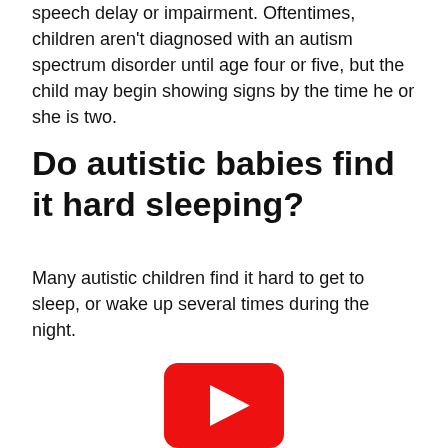speech delay or impairment. Oftentimes, children aren't diagnosed with an autism spectrum disorder until age four or five, but the child may begin showing signs by the time he or she is two.
Do autistic babies find it hard sleeping?
Many autistic children find it hard to get to sleep, or wake up several times during the night.
[Figure (other): YouTube play button logo — red rounded rectangle with white triangle play icon]